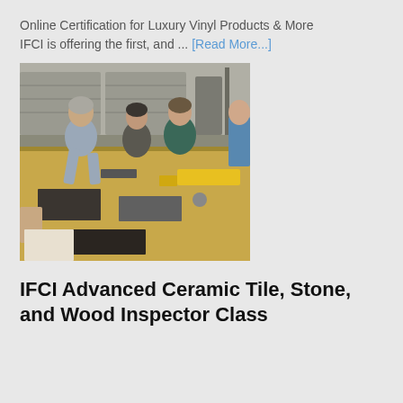Online Certification for Luxury Vinyl Products & More
IFCI is offering the first, and … [Read More...]
[Figure (photo): Several men leaning over a large worktable in an industrial warehouse setting, examining flooring samples and tools including a yellow level/measuring device. The table has vinyl and tile flooring samples laid out on it.]
IFCI Advanced Ceramic Tile, Stone, and Wood Inspector Class